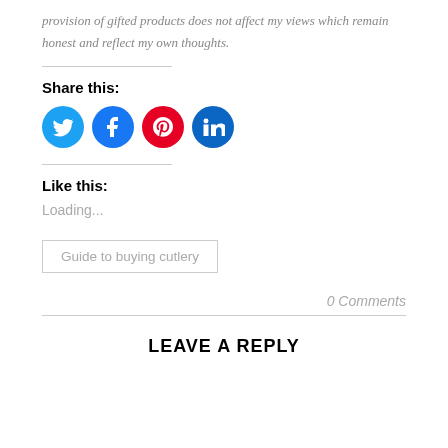provision of gifted products does not affect my views which remain honest and reflect my own thoughts.
Share this:
[Figure (illustration): Four social media circular icon buttons: Twitter (blue), Facebook (blue), Pinterest (red), LinkedIn (dark blue)]
Like this:
Loading...
Guide to buying cutlery
0 Comments
LEAVE A REPLY